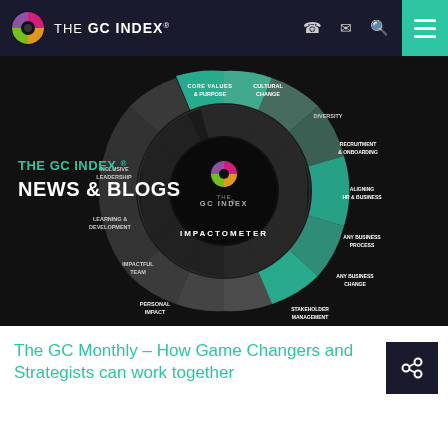THE GC INDEX®
[Figure (infographic): Circular GC Index diagram (Impactometer) showing segments: Core Values & Purpose, Cultural Change, Recruitment & Onboarding, Aligning HR & Business, Any Business Process, Any Business Change, Stakeholder Management, Personal Impact, Impactful Team, Learning & Development, Inclusive Leadership, Diversity. Center shows THE GC INDEX® logo with Impactometer label. Overlay text: THE GC INDEX® NEWS & BLOGS]
The GC Monthly – How Game Changers and Strategists can work together